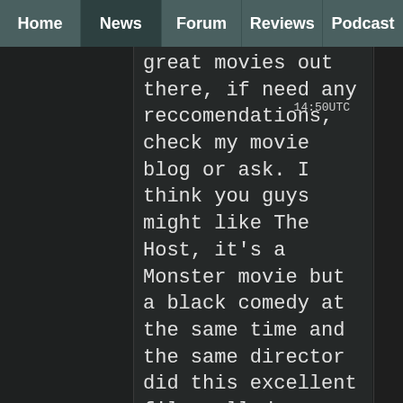Home | News | Forum | Reviews | Podcast
14:50UTC
great movies out there, if need any reccomendations, check my movie blog or ask. I think you guys might like The Host, it's a Monster movie but a black comedy at the same time and the same director did this excellent film called Memories of Murder about the first serial killer